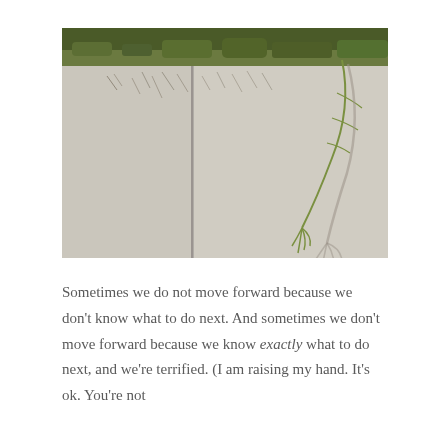[Figure (photo): Close-up photograph of concrete pavement slabs with a vertical crack/joint, with green grass and plant roots visible along the top edge, and a single green grass stem with seed head drooping down from the upper right, casting a long shadow on the grey concrete surface.]
Sometimes we do not move forward because we don't know what to do next. And sometimes we don't move forward because we know exactly what to do next, and we're terrified. (I am raising my hand. It's ok. You're not